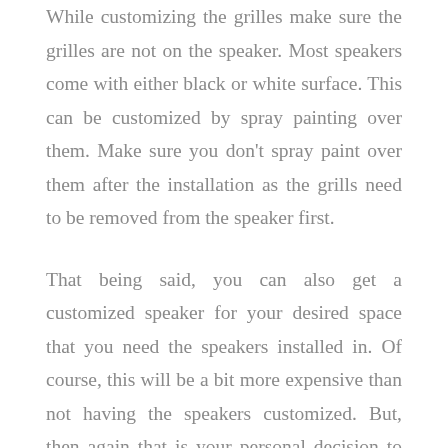While customizing the grilles make sure the grilles are not on the speaker. Most speakers come with either black or white surface. This can be customized by spray painting over them. Make sure you don't spray paint over them after the installation as the grills need to be removed from the speaker first.
That being said, you can also get a customized speaker for your desired space that you need the speakers installed in. Of course, this will be a bit more expensive than not having the speakers customized. But, then again that is your personal decision to plan and set out the budget. Just make sure you do not end up compromising with the quality of your speakers.